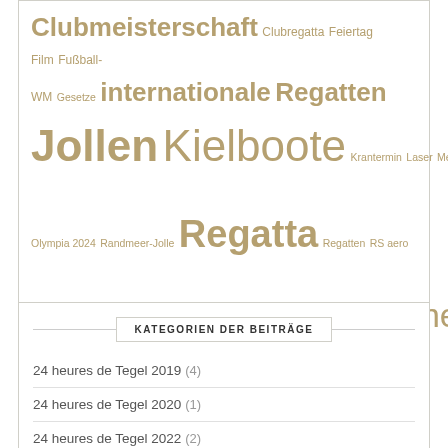Clubmeisterschaft Clubregatta Feiertag Film Fußball-WM Gesetze internationale Regatten Jollen Kielboote Krantermin Laser Messe Nachruf Olympia 2024 Randmeer-Jolle Regatta Regatten RS aero Saisonbeginn Segeln Sommerfest Sturm Tegel Termine Tripartité Versammlung Volvo Ocean Race Wetter world sailing Zeitumstellung
KATEGORIEN DER BEITRÄGE
24 heures de Tegel 2019 (4)
24 heures de Tegel 2020 (1)
24 heures de Tegel 2022 (2)